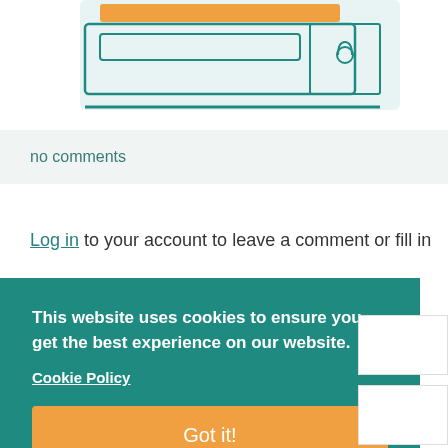[Figure (illustration): Partial illustration of a computer/form interface with teal and orange colors, showing a browser/form-like UI element at the top of the page]
no comments
Log in to your account to leave a comment or fill in
This website uses cookies to ensure you get the best experience on our website. Cookie Policy Got it!